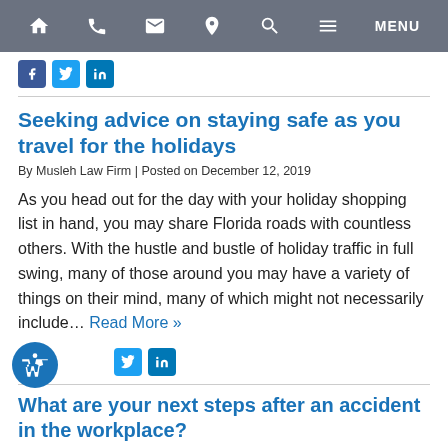Navigation bar with home, phone, email, location, search, menu icons
[Figure (other): Social media icons: Facebook, Twitter, LinkedIn]
Seeking advice on staying safe as you travel for the holidays
By Musleh Law Firm | Posted on December 12, 2019
As you head out for the day with your holiday shopping list in hand, you may share Florida roads with countless others. With the hustle and bustle of holiday traffic in full swing, many of those around you may have a variety of things on their mind, many of which might not necessarily include... Read More »
[Figure (other): Social media icons: Twitter, LinkedIn; accessibility icon]
What are your next steps after an accident in the workplace?